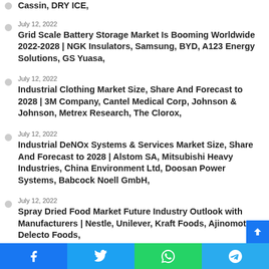Cassin, DRY ICE,
July 12, 2022
Grid Scale Battery Storage Market Is Booming Worldwide 2022-2028 | NGK Insulators, Samsung, BYD, A123 Energy Solutions, GS Yuasa,
July 12, 2022
Industrial Clothing Market Size, Share And Forecast to 2028 | 3M Company, Cantel Medical Corp, Johnson & Johnson, Metrex Research, The Clorox,
July 12, 2022
Industrial DeNOx Systems & Services Market Size, Share And Forecast to 2028 | Alstom SA, Mitsubishi Heavy Industries, China Environment Ltd, Doosan Power Systems, Babcock Noell GmbH,
July 12, 2022
Spray Dried Food Market Future Industry Outlook with Manufacturers | Nestle, Unilever, Kraft Foods, Ajinomoto, Delecto Foods,